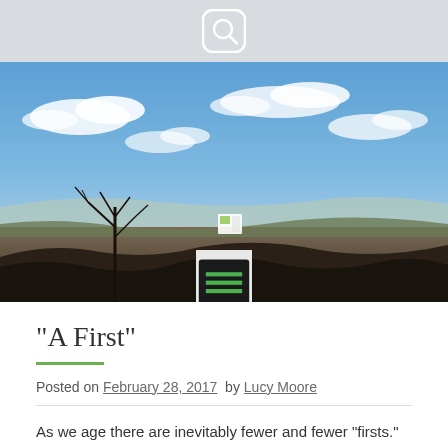[Figure (photo): Outdoor landscape photograph showing a wide open sky with scattered white clouds, a bare tree silhouette on the left, and scrubland stretching to distant mountains under a blue sky.]
“A First”
Posted on February 28, 2017  by Lucy Moore
As we age there are inevitably fewer and fewer “firsts.” At some point we have done, at least once, pretty much